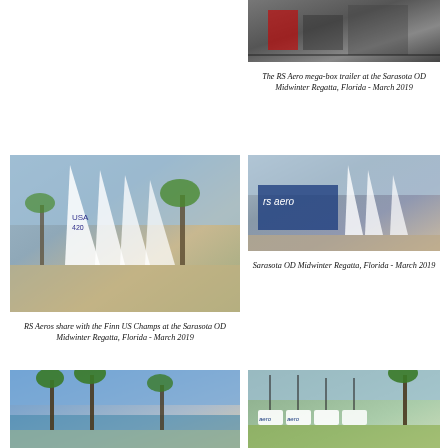[Figure (photo): RS Aero mega-box trailer at the Sarasota OD Midwinter Regatta, Florida - March 2019]
The RS Aero mega-box trailer at the Sarasota OD Midwinter Regatta, Florida - March 2019
[Figure (photo): RS Aeros sharing with the Finn US Champs at the Sarasota OD Midwinter Regatta, Florida - March 2019]
[Figure (photo): Sarasota OD Midwinter Regatta, Florida - March 2019]
Sarasota OD Midwinter Regatta, Florida - March 2019
RS Aeros share with the Finn US Champs at the Sarasota OD Midwinter Regatta, Florida - March 2019
[Figure (photo): Waterfront scene at Sarasota OD Midwinter Regatta]
[Figure (photo): RS Aero boats lined up at Sarasota OD Midwinter Regatta]